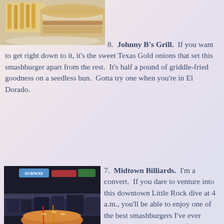[Figure (photo): Top portion of a sandwich with fries, partially visible at the top-left of the page]
8. Johnny B's Grill. If you want to get right down to it, it's the sweet Texas Gold onions that set this smashburger apart from the rest. It's half a pound of griddle-fried goodness on a seedless bun. Gotta try one when you're in El Dorado.
[Figure (photo): A large burger in a basket/bowl at Midtown Billiards, with a bar/restaurant interior visible in the background]
7. Midtown Billiards. I'm a convert. If you dare to venture into this downtown Little Rock dive at 4 a.m., you'll be able to enjoy one of the best smashburgers I've ever encountered. Fortunately for day dwellers, Midtown's open at 4 p.m., too.